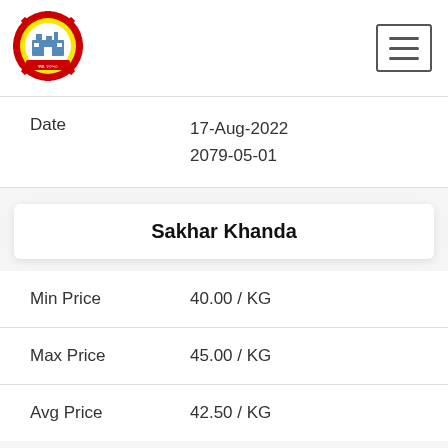[Figure (logo): Circular emblem/logo with red gear border and yellow background, featuring a building/factory image in center]
Date
17-Aug-2022
2079-05-01
Sakhar Khanda
Min Price   40.00 / KG
Max Price   45.00 / KG
Avg Price   42.50 / KG